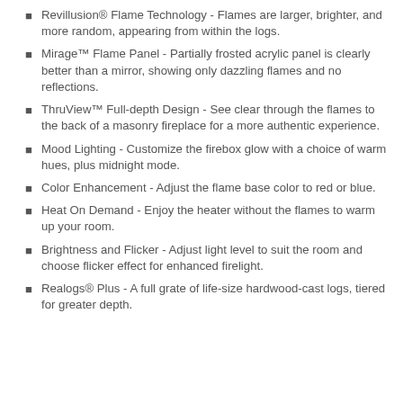Revillusion® Flame Technology - Flames are larger, brighter, and more random, appearing from within the logs.
Mirage™ Flame Panel - Partially frosted acrylic panel is clearly better than a mirror, showing only dazzling flames and no reflections.
ThruView™ Full-depth Design - See clear through the flames to the back of a masonry fireplace for a more authentic experience.
Mood Lighting - Customize the firebox glow with a choice of warm hues, plus midnight mode.
Color Enhancement - Adjust the flame base color to red or blue.
Heat On Demand - Enjoy the heater without the flames to warm up your room.
Brightness and Flicker - Adjust light level to suit the room and choose flicker effect for enhanced firelight.
Realogs® Plus - A full grate of life-size hardwood-cast logs, tiered for greater depth.